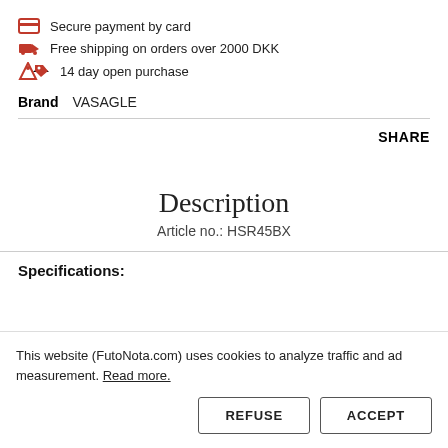Secure payment by card
Free shipping on orders over 2000 DKK
14 day open purchase
Brand   VASAGLE
SHARE
Description
Article no.: HSR45BX
Specifications:
This website (FutoNota.com) uses cookies to analyze traffic and ad measurement. Read more.